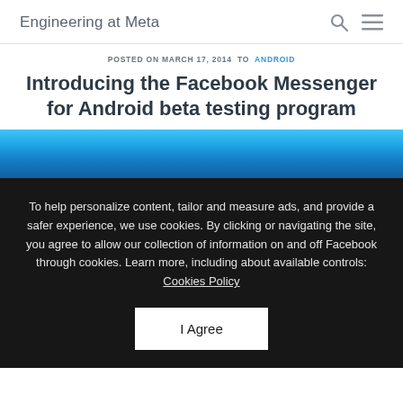Engineering at Meta
POSTED ON MARCH 17, 2014 TO ANDROID
Introducing the Facebook Messenger for Android beta testing program
[Figure (illustration): Blue gradient banner/image strip below the title]
To help personalize content, tailor and measure ads, and provide a safer experience, we use cookies. By clicking or navigating the site, you agree to allow our collection of information on and off Facebook through cookies. Learn more, including about available controls: Cookies Policy
I Agree